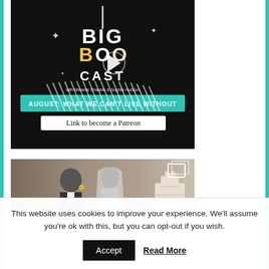[Figure (screenshot): Big Boo Cast podcast cover image on black background with circular striped design, play button overlay, colorful letters BIG BOO and text CAST with 'with Melanie Shankle & Sophia Hudson'. Teal banner reads 'AUGUST: WHAT WE CAN'T LIVE WITHOUT'. Below reads 'Link to become a Patreon'.]
[Figure (photo): Black and white vintage wedding photo showing a couple, the bride wearing a veil and the groom in a suit, both smiling. Wedding cake partially visible on right.]
This website uses cookies to improve your experience. We'll assume you're ok with this, but you can opt-out if you wish.
Accept  Read More